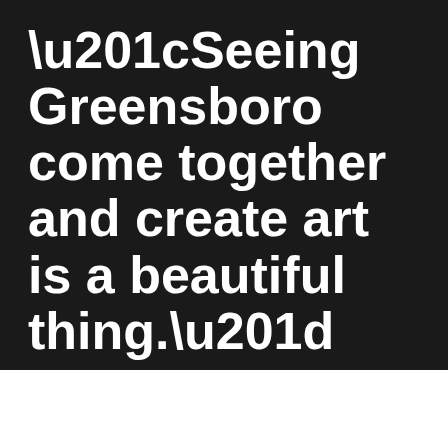“Seeing Greensboro come together and create art is a beautiful thing.”
Published November 23, 2016